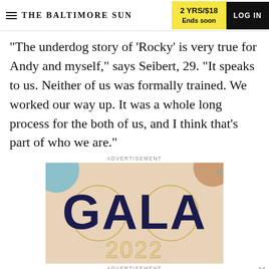THE BALTIMORE SUN | 2 YRS/$18 Ends soon | LOG IN
"The underdog story of 'Rocky' is very true for Andy and myself," says Seibert, 29. "It speaks to us. Neither of us was formally trained. We worked our way up. It was a whole long process for the both of us, and I think that's part of who we are."
ADVERTISEMENT
[Figure (illustration): GALA 2022 advertisement with decorative circular elements on a beige background]
ADVERTISEMENT
[Figure (illustration): The Sun's Original SECRET SUPPER series is BACK! | Sept. 22, 7:00pm - red banner advertisement]